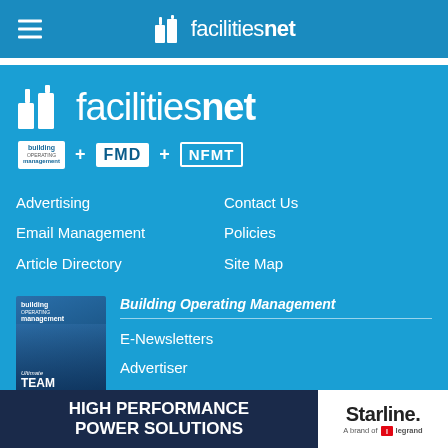facilitiesnet
[Figure (logo): facilitiesnet logo with building icon, white on blue background, with sub-brands: building operations management + FMD + NFMT]
Advertising
Contact Us
Email Management
Policies
Article Directory
Site Map
[Figure (photo): Building Operating Management magazine cover showing a man in a hard hat, text: Ultimate TEAM PLAYER]
Building Operating Management
E-Newsletters
Advertiser
[Figure (logo): FMD logo badge]
Facility Maintenance Decisions
[Figure (other): Advertisement banner: HIGH PERFORMANCE POWER SOLUTIONS | Starline. A brand of Legrand]